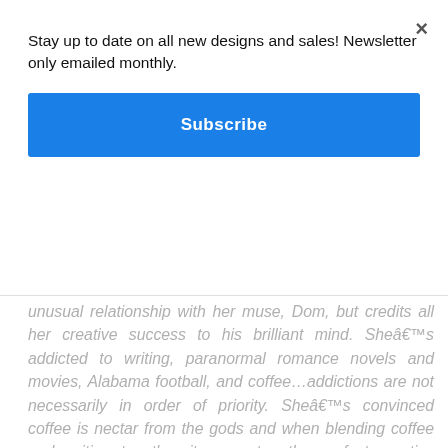×
Stay up to date on all new designs and sales! Newsletter only emailed monthly.
Subscribe
unusual relationship with her muse, Dom, but credits all her creative success to his brilliant mind. Sheâ€™s addicted to writing, paranormal romance novels and movies, Alabama football, and coffee…addictions are not necessarily in order of priority. Sheâ€™s convinced coffee is nectar from the gods and when blending coffee and writing together it generates the perfect creative merger. Many of her creative worlds are spawned from coffee highs and Domâ€™s aggressive demands. Gracen writes is multiple genresâ€”paranormal romance, paranormal erotic romance, and contemporary romance. To learn more about Gracen or to leave her a comment, visit her website at